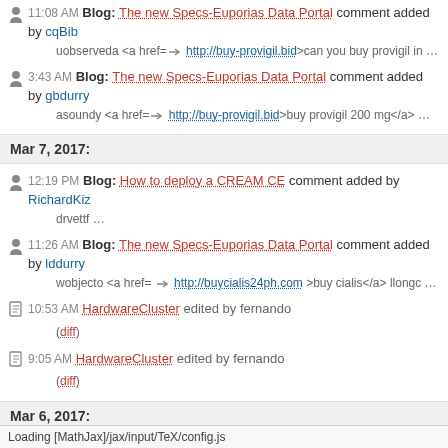11:08 AM Blog: The new Specs-Euporias Data Portal comment added by cqBib
uobserveda <a href=⇒ http://buy-provigil.bid>can you buy provigil in …
3:43 AM Blog: The new Specs-Euporias Data Portal comment added by gbdurry
asoundy <a href=⇒ http://buy-provigil.bid>buy provigil 200 mg</a> …
Mar 7, 2017:
12:19 PM Blog: How to deploy a CREAM CE comment added by RichardKiz
drvettf …
11:26 AM Blog: The new Specs-Euporias Data Portal comment added by lddurry
wobjecto <a href= ⇒ http://buycialis24ph.com >buy cialis</a> llongc …
10:53 AM HardwareCluster edited by fernando
(diff)
9:05 AM HardwareCluster edited by fernando
(diff)
Mar 6, 2017:
Loading [MathJax]/jax/input/TeX/config.js